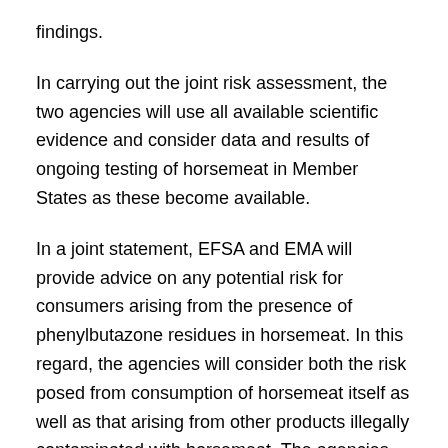findings.
In carrying out the joint risk assessment, the two agencies will use all available scientific evidence and consider data and results of ongoing testing of horsemeat in Member States as these become available.
In a joint statement, EFSA and EMA will provide advice on any potential risk for consumers arising from the presence of phenylbutazone residues in horsemeat. In this regard, the agencies will consider both the risk posed from consumption of horsemeat itself as well as that arising from other products illegally contaminated with horsemeat. The agencies have been asked to advise, where appropriate, if additional control options are needed to minimise any risks identified.